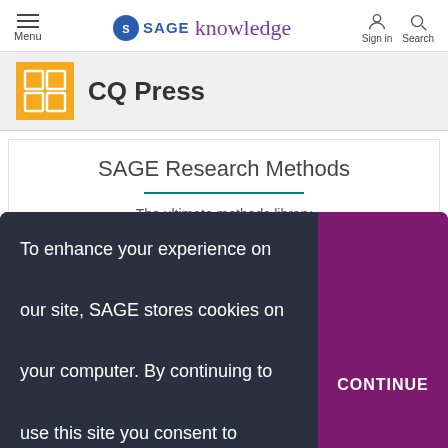Menu | SAGE knowledge | Sign in | Search
CQ Press
SAGE Research Methods
The ultimate methods library
To enhance your experience on our site, SAGE stores cookies on your computer. By continuing to use this site you consent to receive cookies. Learn more.
CONTINUE